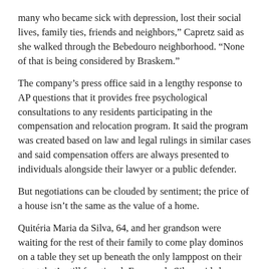many who became sick with depression, lost their social lives, family ties, friends and neighbors,” Capretz said as she walked through the Bebedouro neighborhood. “None of that is being considered by Braskem.”
The company’s press office said in a lengthy response to AP questions that it provides free psychological consultations to any residents participating in the compensation and relocation program. It said the program was created based on law and legal rulings in similar cases and said compensation offers are always presented to individuals alongside their lawyer or a public defender.
But negotiations can be clouded by sentiment; the price of a house isn’t the same as the value of a home.
Quitéria Maria da Silva, 64, and her grandson were waiting for the rest of their family to come play dominos on a table they set up beneath the only lamppost on their street that’s still functional. Even as da Silva said she would move were Braskem to pay her requested amount, she expressed ambivalence:
“I always lived in my house and now, if I have to leave here, where will I go?” ___ AP reporter David Biller contributed from Rio de Janeiro